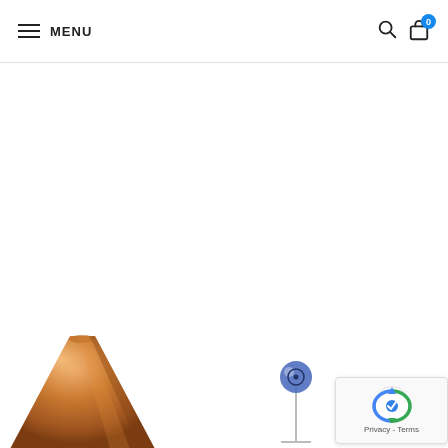MENU
[Figure (photo): Copper conical lamp shade product photo, partially visible at bottom left]
[Figure (photo): Small lamp product photo, partially visible at bottom center-right]
[Figure (screenshot): reCAPTCHA privacy badge with Google logo, showing 'Privacy - Terms']